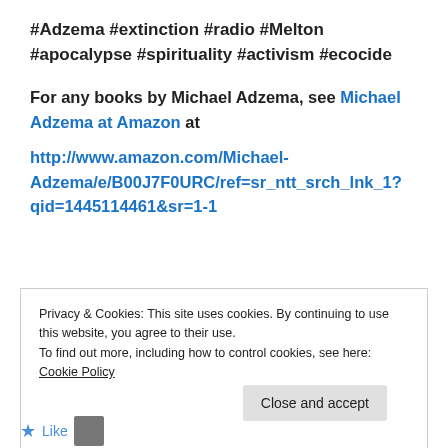#Adzema #extinction #radio #Melton #apocalypse #spirituality #activism #ecocide
For any books by Michael Adzema, see Michael Adzema at Amazon at
http://www.amazon.com/Michael-Adzema/e/B00J7F0URC/ref=sr_ntt_srch_lnk_1?qid=1445114461&sr=1-1
Privacy & Cookies: This site uses cookies. By continuing to use this website, you agree to their use. To find out more, including how to control cookies, see here: Cookie Policy
Close and accept